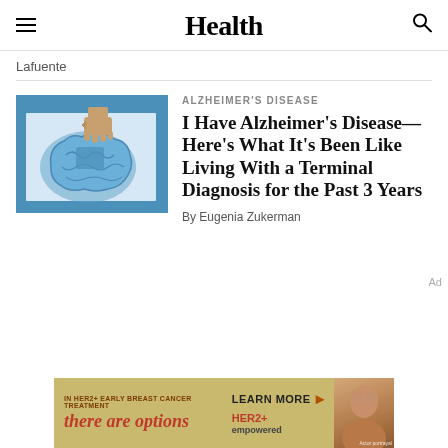Health
Lafuente
ALZHEIMER'S DISEASE
I Have Alzheimer's Disease—Here's What It's Been Like Living With a Terminal Diagnosis for the Past 3 Years
By Eugenia Zukerman
[Figure (photo): Hand placing a puzzle piece onto a brain-shaped puzzle on a blue background]
[Figure (photo): Advertisement banner: IN HER2+ EARLY BREAST CANCER TREATMENT — there are options — LEARN MORE — HER2+ empowered — Actor portrayal]